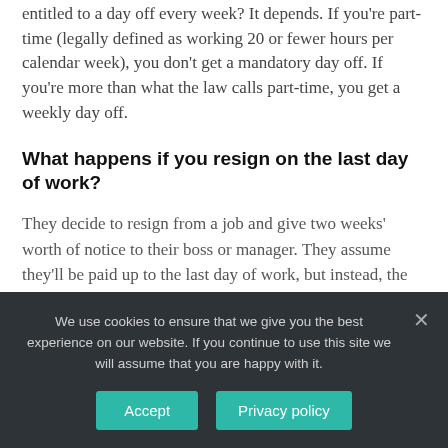entitled to a day off every week? It depends. If you're part-time (legally defined as working 20 or fewer hours per calendar week), you don't get a mandatory day off. If you're more than what the law calls part-time, you get a weekly day off.
What happens if you resign on the last day of work?
They decide to resign from a job and give two weeks' worth of notice to their boss or manager. They assume they'll be paid up to the last day of work, but instead, the boss asks them to leave on the day they
We use cookies to ensure that we give you the best experience on our website. If you continue to use this site we will assume that you are happy with it.